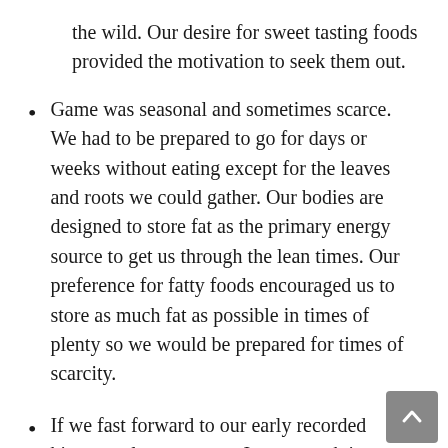the wild. Our desire for sweet tasting foods provided the motivation to seek them out.
Game was seasonal and sometimes scarce. We had to be prepared to go for days or weeks without eating except for the leaves and roots we could gather. Our bodies are designed to store fat as the primary energy source to get us through the lean times. Our preference for fatty foods encouraged us to store as much fat as possible in times of plenty so we would be prepared for times of scarcity.
If we fast forward to our early recorded history, salt was scarce. It was worth its weight in gold. Yet some salt is essential for life. Our preference for salty foods encouraged us to search out supplies of salt.